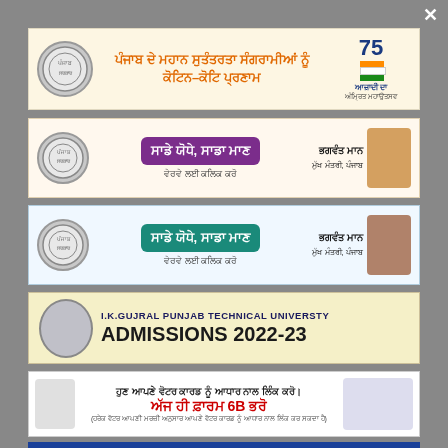[Figure (infographic): Punjabi government banner - Azaadi Ka Amrit Mahotsav with government seal and 75th independence text]
[Figure (infographic): Sade Yodhe Sada Maan purple banner with Bhagwant Mann CM Punjab]
[Figure (infographic): Sade Yodhe Sada Maan teal banner with Bhagwant Mann CM Punjab]
[Figure (infographic): I.K. Gujral Punjab Technical University Admissions 2022-23]
[Figure (infographic): Chief Electoral Officer Punjab - Link Voter Card with Aadhaar, fill Form 6B]
[Figure (infographic): Partial blue banner at bottom]